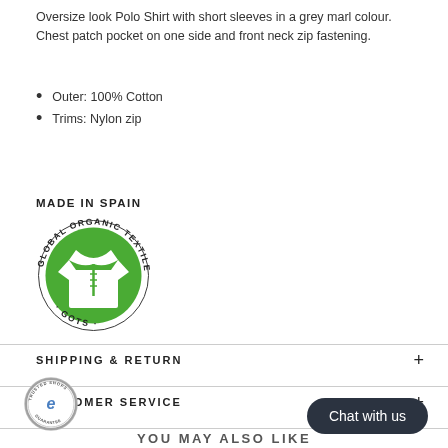Oversize look Polo Shirt with short sleeves in a grey marl colour. Chest patch pocket on one side and front neck zip fastening.
Outer: 100% Cotton
Trims: Nylon zip
MADE IN SPAIN
[Figure (logo): Global Organic Textile Standard (GOTS) circular green logo with white shirt icon in center and text around the border]
SHIPPING & RETURN
CUSTOMER SERVICE
[Figure (logo): Trusted Shops round silver badge with blue 'e' letter and 'TRUSTED SHOPS GUARANTEE' text]
Chat with us
YOU MAY ALSO LIKE